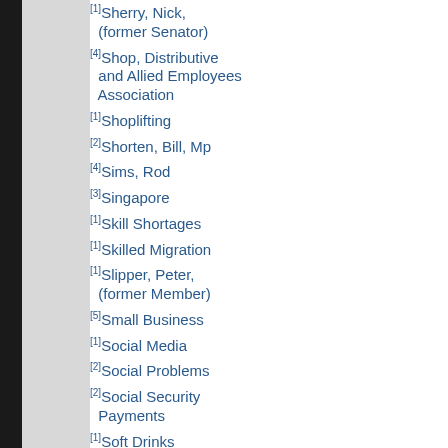[1]Sherry, Nick, (former Senator)
[4]Shop, Distributive and Allied Employees Association
[1]Shoplifting
[2]Shorten, Bill, Mp
[4]Sims, Rod
[3]Singapore
[1]Skill Shortages
[1]Skilled Migration
[1]Slipper, Peter, (former Member)
[5]Small Business
[1]Social Media
[2]Social Problems
[2]Social Security Payments
[1]Soft Drinks
[9]South Africa
[3]South Australia
[3]Southcorp Holdings
[1]Sovereign Wealth Funds
[4]Spc Ardmona
[1]Speaker
[1]Sponsorship